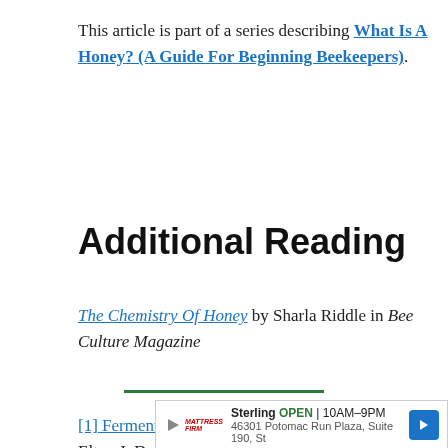This article is part of a series describing What Is A Honey? (A Guide For Beginning Beekeepers).
Additional Reading
The Chemistry Of Honey by Sharla Riddle in Bee Culture Magazine
[1] Fermentation and Crystallization of Honey – Elton J. Dyce – Published by Cornell University Agricultural Experiment Station – Ithaca, NY
[Figure (other): Video player overlay saying 'No compatible source was found for this media.' with ad for Mattress Firm Sterling, OPEN 10AM-9PM, 46301 Potomac Run Plaza, Suite 190, St]